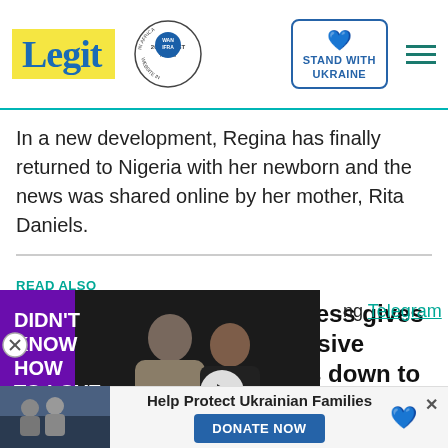Legit | WAN IFRA 2021 Best News Website in Africa | Stand with Ukraine
In a new development, Regina has finally returned to Nigeria with her newborn and the news was shared online by her mother, Rita Daniels.
READ ALSO
Funke Akindele at 45: Actress gives thanks to God with impressive dance video as she counts down to birthday
[Figure (screenshot): Video advertisement overlay showing a couple and text 'DIDN'T KNOW HOW TO LOVE' on purple background with play button]
.ng Telegram channel! Never
page, the proud grandmother over the baby boy. She
[Figure (photo): Bottom banner showing 'Help Protect Ukrainian Families' with a DONATE NOW button, Ukrainian heart flag icon, and a close X button]